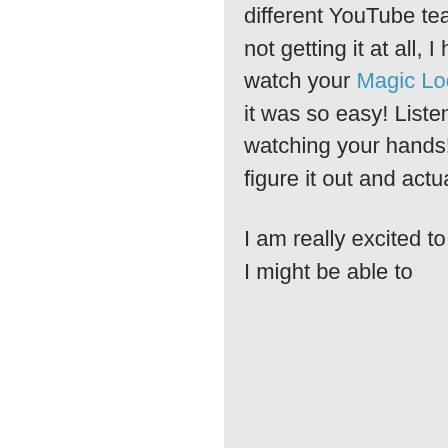different YouTube teachers, and still not getting it at all, I happened to watch your Magic Loop video. And it was so easy! Listening to you and watching your hands! I was able to figure it out and actually do it!

I am really excited to think that now I might be able to